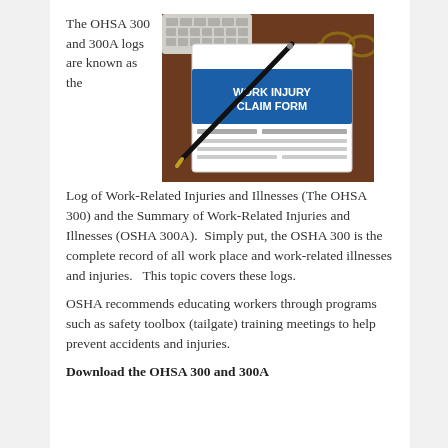The OHSA 300 and 300A logs are known as the Log of Work-Related Injuries and Illnesses (The OHSA 300) and the Summary of Work-Related Injuries and Illnesses (OSHA 300A).  Simply put, the OSHA 300 is the complete record of all work place and work-related illnesses and injuries.   This topic covers these logs.
[Figure (photo): Photo of a Work Injury Claim Form on a clipboard with a pen and glasses on a wooden desk, with a keyboard in the background.]
OSHA recommends educating workers through programs such as safety toolbox (tailgate) training meetings to help prevent accidents and injuries.
Download the OHSA 300 and 300A